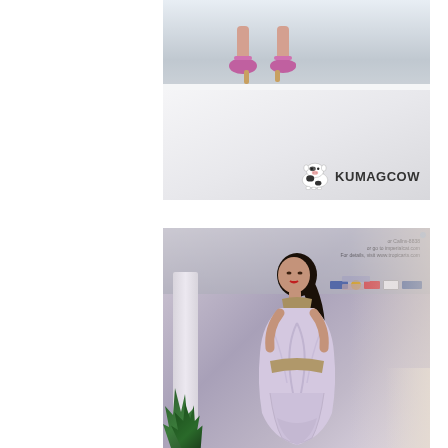[Figure (photo): Close-up photo of feet in pink/magenta sandals on a white runway surface, with KUMAGCOW logo (cartoon cow icon and text) watermark in bottom right corner]
[Figure (photo): Fashion show photo of a female model wearing a draped lavender/lilac gown with a tan/beige collar/sash detail, walking on a runway. Background shows sponsor banners, a white pillar, and indoor mall setting with foliage.]